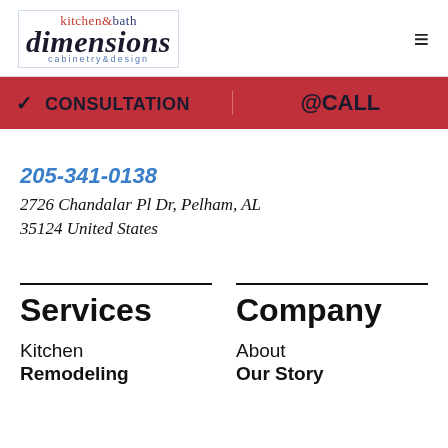[Figure (logo): Kitchen & Bath Dimensions cabinetry & design logo with blue grid lines and red/dark blue text]
✓ CONSULTATION
@CALL
205-341-0138
2726 Chandalar Pl Dr, Pelham, AL 35124 United States
Services
Company
Kitchen
Remodeling
About
Our Story